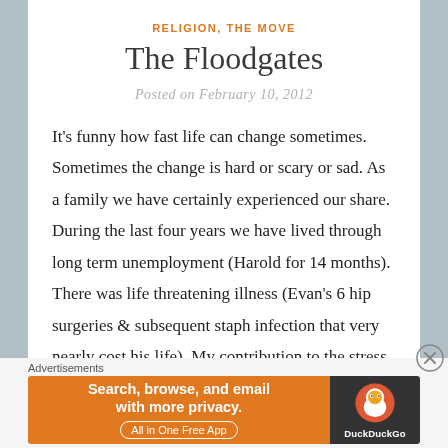RELIGION, THE MOVE
The Floodgates
Posted on February 10, 2012
It's funny how fast life can change sometimes. Sometimes the change is hard or scary or sad. As a family we have certainly experienced our share. During the last four years we have lived through long term unemployment (Harold for 14 months). There was life threatening illness (Evan's 6 hip surgeries & subsequent staph infection that very nearly cost his life). My contribution to the stress pile was being diagnosed with
Advertisements
[Figure (screenshot): DuckDuckGo advertisement banner: orange left panel with text 'Search, browse, and email with more privacy. All in One Free App' and dark right panel with DuckDuckGo duck logo and brand name.]